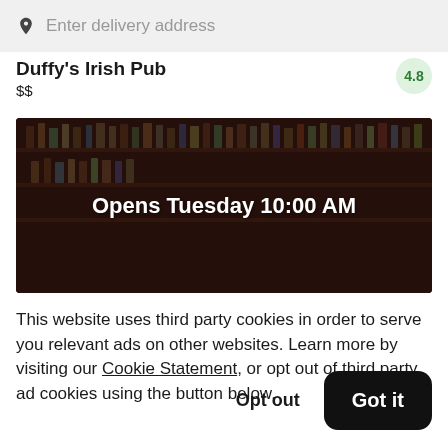Enter delivery address
Duffy's Irish Pub
$$
4.8
[Figure (photo): Dark interior photo of a bar with shelves of liquor bottles, overlaid with text 'Opens Tuesday 10:00 AM']
This website uses third party cookies in order to serve you relevant ads on other websites. Learn more by visiting our Cookie Statement, or opt out of third party ad cookies using the button below.
Opt out
Got it